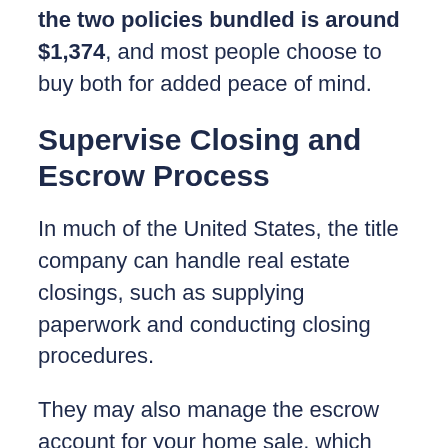the two policies bundled is around $1,374, and most people choose to buy both for added peace of mind.
Supervise Closing and Escrow Process
In much of the United States, the title company can handle real estate closings, such as supplying paperwork and conducting closing procedures.
They may also manage the escrow account for your home sale, which holds funds for closing costs, earnest money deposits, and eventually the down payment and money to purchase your home. If your